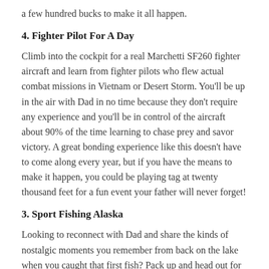a few hundred bucks to make it all happen.
4. Fighter Pilot For A Day
Climb into the cockpit for a real Marchetti SF260 fighter aircraft and learn from fighter pilots who flew actual combat missions in Vietnam or Desert Storm. You'll be up in the air with Dad in no time because they don't require any experience and you'll be in control of the aircraft about 90% of the time learning to chase prey and savor victory. A great bonding experience like this doesn't have to come along every year, but if you have the means to make it happen, you could be playing tag at twenty thousand feet for a fun event your father will never forget!
3. Sport Fishing Alaska
Looking to reconnect with Dad and share the kinds of nostalgic moments you remember from back on the lake when you caught that first fish? Pack up and head out for the aquatic adventure of a lifetime as Alaskan Sport Fishing retreats are becoming ever more